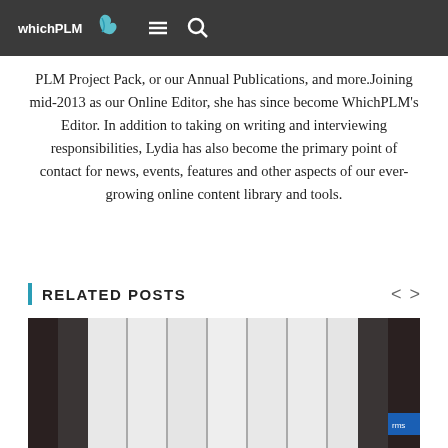whichPLM [navigation menu and search icons]
PLM Project Pack, or our Annual Publications, and more.Joining mid-2013 as our Online Editor, she has since become WhichPLM's Editor. In addition to taking on writing and interviewing responsibilities, Lydia has also become the primary point of contact for news, events, features and other aspects of our ever-growing online content library and tools.
RELATED POSTS
[Figure (photo): Black and white photo of books or binders standing upright on a shelf, viewed from the side showing spines]